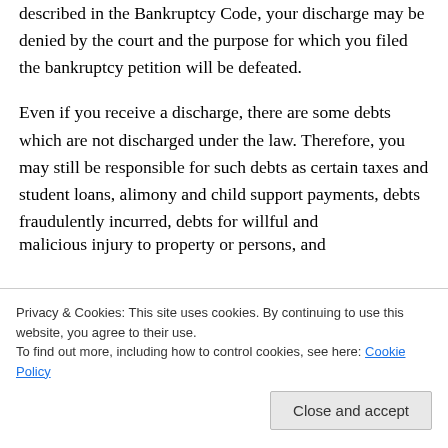described in the Bankruptcy Code, your discharge may be denied by the court and the purpose for which you filed the bankruptcy petition will be defeated.
Even if you receive a discharge, there are some debts which are not discharged under the law. Therefore, you may still be responsible for such debts as certain taxes and student loans, alimony and child support payments, debts fraudulently incurred, debts for willful and malicious injury to property or persons, and
It is designed for individuals with regular income
Privacy & Cookies: This site uses cookies. By continuing to use this website, you agree to their use.
To find out more, including how to control cookies, see here: Cookie Policy